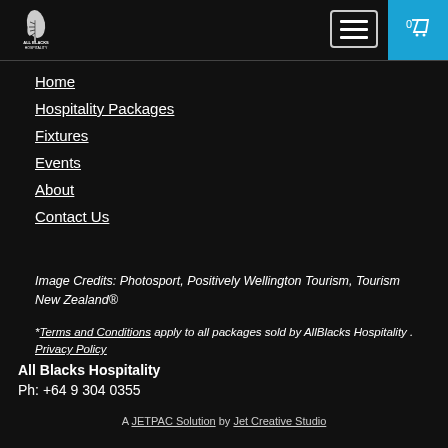[Figure (logo): All Blacks Hospitality logo with silver fern on black background]
Home
Hospitality Packages
Fixtures
Events
About
Contact Us
Image Credits:  Photosport, Positively Wellington Tourism, Tourism New Zealand®
*Terms and Conditions apply to all packages sold by AllBlacks Hospitality . Privacy Policy
All Blacks Hospitality
Ph: +64 9 304 0355
A JETPAC Solution by Jet Creative Studio